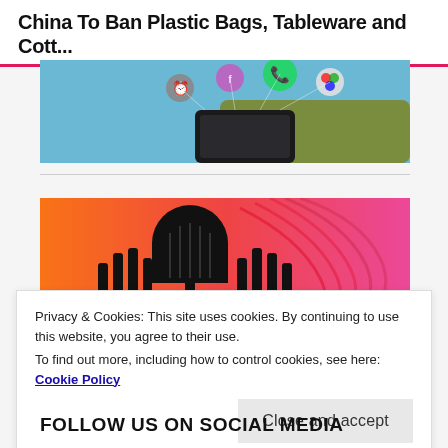China To Ban Plastic Bags, Tableware and Cott...
[Figure (photo): Hand holding a smartphone with colorful app icons floating above it on a blue background]
[Figure (photo): Podcast banner with microphone silhouette on orange-to-pink gradient background]
Privacy & Cookies: This site uses cookies. By continuing to use this website, you agree to their use.
To find out more, including how to control cookies, see here: Cookie Policy
Close and accept
FOLLOW US ON SOCIAL MEDIA